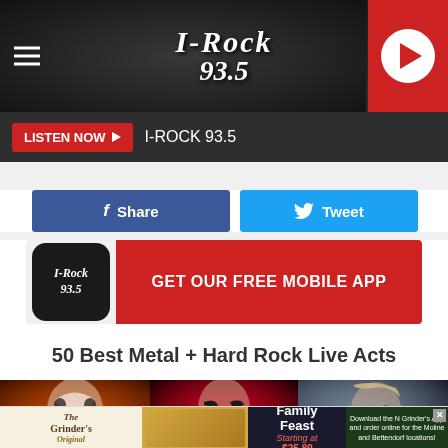[Figure (screenshot): I-Rock 93.5 radio station website header with dark background, hamburger menu on left, I-Rock 93.5 logo in center, and red play button on right]
LISTEN NOW ▶  I-ROCK 93.5
f Share
Tweet
[Figure (logo): I-Rock 93.5 mobile app promotion banner with logo and red GET OUR FREE MOBILE APP button]
50 Best Metal + Hard Rock Live Acts
[Figure (photo): Three rock performers side by side: KISS Gene Simmons with face paint, Alice Cooper, and Iron Maiden's Bruce Dickinson singing into microphones]
[Figure (photo): Grinder's advertisement banner showing Family Feast Starting at $25.89 with app download offer for Moline and Bettendorf locations]